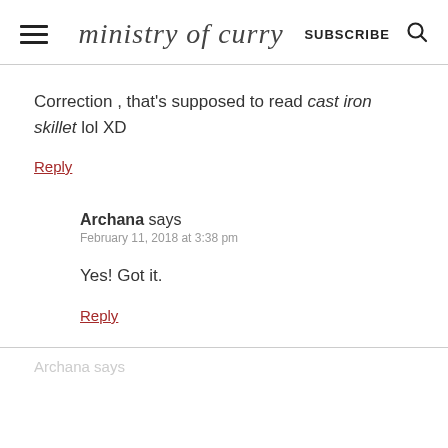ministry of curry  SUBSCRIBE
Correction , that's supposed to read cast iron skillet lol XD
Reply
Archana says
February 11, 2018 at 3:38 pm
Yes! Got it.
Reply
Archana says